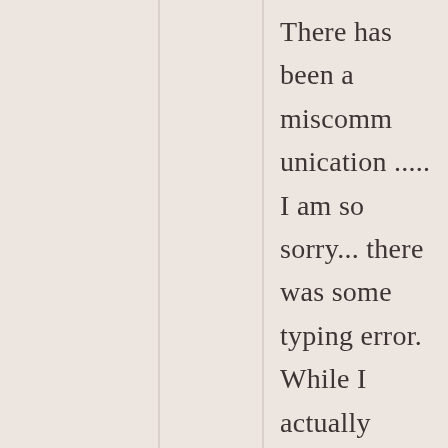There has been a miscomm unication ..... I am so sorry... there was some typing error. While I actually meant, oh fine! The device